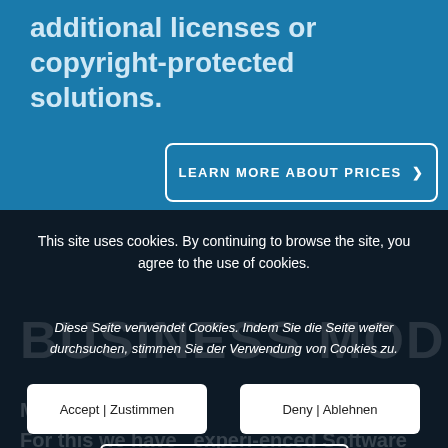additional licenses or copyright-protected solutions.
LEARN MORE ABOUT PRICES >
This site uses cookies. By continuing to browse the site, you agree to the use of cookies.
BUSINESS MODEL
Diese Seite verwendet Cookies. Indem Sie die Seite weiter durchsuchen, stimmen Sie der Verwendung von Cookies zu.
Accept | Zustimmen
Deny | Ablehnen
Most ... our own means. For this we have experi-enced Software Engineers with an innovative
Settings | Einstellungen